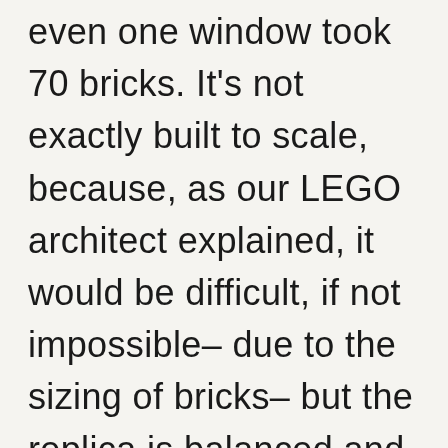even one window took 70 bricks. It's not exactly built to scale, because, as our LEGO architect explained, it would be difficult, if not impossible– due to the sizing of bricks– but the replica is balanced and true to its in-person image. Understand, however, the building required hundreds and hundreds (and waaay more